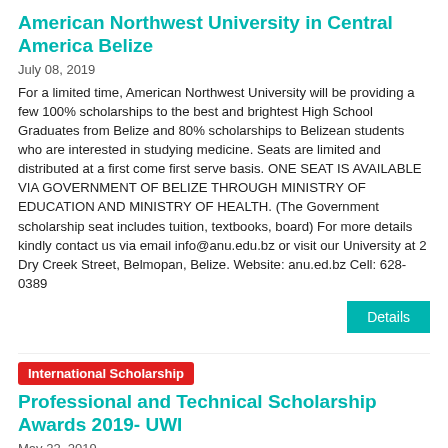American Northwest University in Central America Belize
July 08, 2019
For a limited time, American Northwest University will be providing a few 100% scholarships to the best and brightest High School Graduates from Belize and 80% scholarships to Belizean students who are interested in studying medicine. Seats are limited and distributed at a first come first serve basis. ONE SEAT IS AVAILABLE VIA GOVERNMENT OF BELIZE THROUGH MINISTRY OF EDUCATION AND MINISTRY OF HEALTH. (The Government scholarship seat includes tuition, textbooks, board) For more details kindly contact us via email info@anu.edu.bz or visit our University at 2 Dry Creek Street, Belmopan, Belize. Website: anu.ed.bz Cell: 628-0389
Details
International Scholarship
Professional and Technical Scholarship Awards 2019- UWI
May 22, 2019
The scholarship award is primarily for Bachelor Degree Programs and is normally applicable for a maximum of three (3) mainly at the University of the West Indies and other Commonwealth Caribbean institutions.
Details